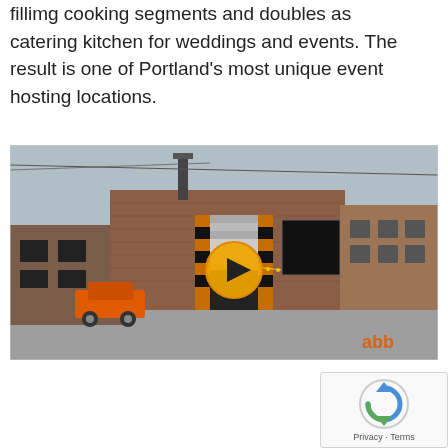fillimg cooking segments and doubles as catering kitchen for weddings and events. The result is one of Portland's most unique event hosting locations.
[Figure (photo): Exterior photograph of a brick industrial building with a large garage-style entrance with orange and black diagonal striped columns, a video play button overlay in the center, an orange vehicle parked in front, and an orange logo watermark in the bottom right corner.]